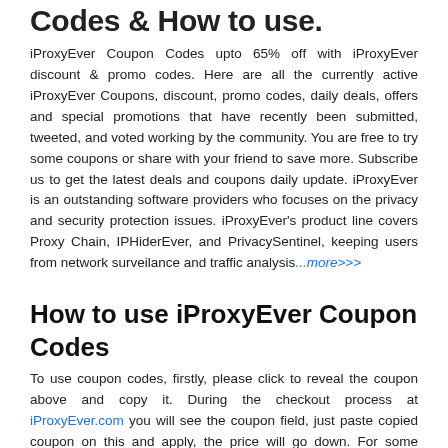Codes & How to use.
iProxyEver Coupon Codes upto 65% off with iProxyEver discount & promo codes. Here are all the currently active iProxyEver Coupons, discount, promo codes, daily deals, offers and special promotions that have recently been submitted, tweeted, and voted working by the community. You are free to try some coupons or share with your friend to save more. Subscribe us to get the latest deals and coupons daily update. iProxyEver is an outstanding software providers who focuses on the privacy and security protection issues. iProxyEver's product line covers Proxy Chain, IPHiderEver, and PrivacySentinel, keeping users from network surveilance and traffic analysis...more>>>
How to use iProxyEver Coupon Codes
To use coupon codes, firstly, please click to reveal the coupon above and copy it. During the checkout process at iProxyEver.com you will see the coupon field, just paste copied coupon on this and apply, the price will go down. For some iProxyEver promotion that doesn't require a coupon,